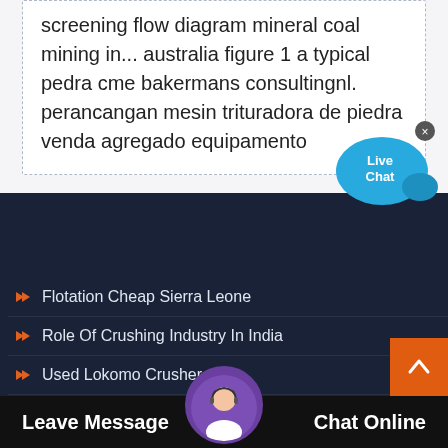screening flow diagram mineral coal mining in... australia figure 1 a typical pedra cme bakermans consultingnl. perancangan mesin trituradora de piedra venda agregado equipamento
[Figure (other): Live Chat bubble widget in blue]
Flotation Cheap Sierra Leone
Role Of Crushing Industry In India
Used Lokomo Crusher
Cli... Crusher ... men T...
Leave Message
Chat Online